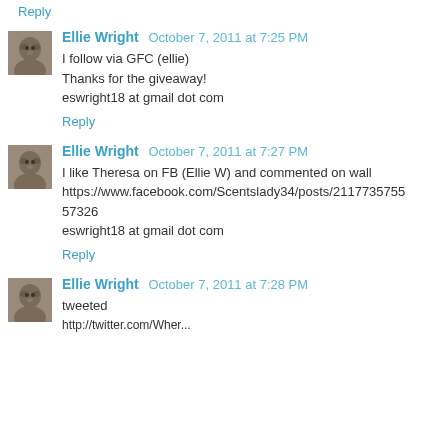Reply
Ellie Wright  October 7, 2011 at 7:25 PM
I follow via GFC (ellie)
Thanks for the giveaway!
eswright18 at gmail dot com
Reply
Ellie Wright  October 7, 2011 at 7:27 PM
I like Theresa on FB (Ellie W) and commented on wall
https://www.facebook.com/Scentslady34/posts/21177357555 7326
eswright18 at gmail dot com
Reply
Ellie Wright  October 7, 2011 at 7:28 PM
tweeted